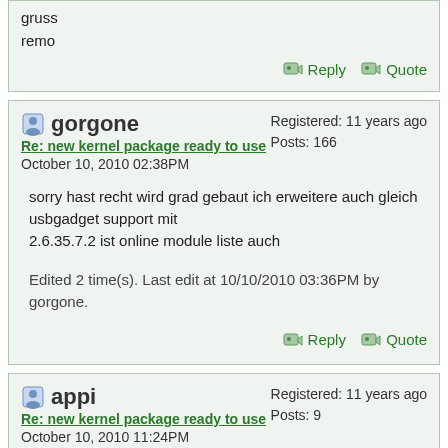gruss
remo
Reply  Quote
gorgone
Re: new kernel package ready to use
October 10, 2010 02:38PM
Registered: 11 years ago
Posts: 166
sorry hast recht wird grad gebaut ich erweitere auch gleich usbgadget support mit
2.6.35.7.2 ist online module liste auch
Edited 2 time(s). Last edit at 10/10/2010 03:36PM by gorgone.
Reply  Quote
appi
Re: new kernel package ready to use
October 10, 2010 11:24PM
Registered: 11 years ago
Posts: 9